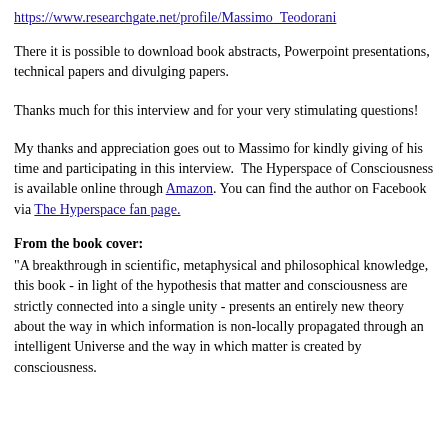https://www.researchgate.net/profile/Massimo_Teodorani
There it is possible to download book abstracts, Powerpoint presentations, technical papers and divulging papers.
Thanks much for this interview and for your very stimulating questions!
My thanks and appreciation goes out to Massimo for kindly giving of his time and participating in this interview.  The Hyperspace of Consciousness is available online through Amazon. You can find the author on Facebook via The Hyperspace fan page.
From the book cover:
"A breakthrough in scientific, metaphysical and philosophical knowledge, this book - in light of the hypothesis that matter and consciousness are strictly connected into a single unity - presents an entirely new theory about the way in which information is non-locally propagated through an intelligent Universe and the way in which matter is created by consciousness.